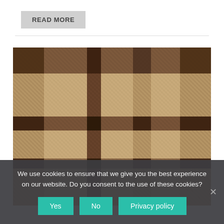READ MORE
[Figure (photo): Close-up photo of a woven fabric with a brown and beige plaid/tartan pattern. The weave shows a textured herringbone or twill structure with large brown check stripes over a tan/cream background.]
We use cookies to ensure that we give you the best experience on our website. Do you consent to the use of these cookies?
Yes
No
Privacy policy